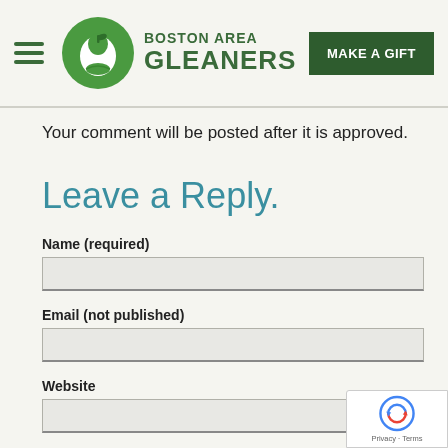[Figure (logo): Boston Area Gleaners logo with green circular apple icon and organization name]
Your comment will be posted after it is approved.
Leave a Reply.
Name (required)
Email (not published)
Website
[Figure (other): reCAPTCHA badge with Privacy and Terms links]